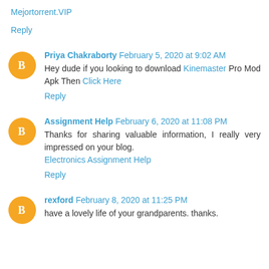Mejortorrent.VIP
Reply
Priya Chakraborty February 5, 2020 at 9:02 AM
Hey dude if you looking to download Kinemaster Pro Mod Apk Then Click Here
Reply
Assignment Help February 6, 2020 at 11:08 PM
Thanks for sharing valuable information, I really very impressed on your blog. Electronics Assignment Help
Reply
rexford February 8, 2020 at 11:25 PM
have a lovely life of your grandparents. thanks.